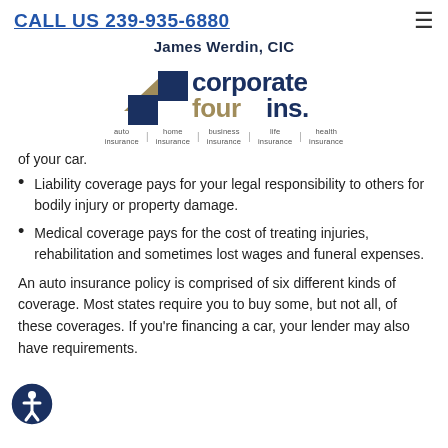CALL US 239-935-6880
[Figure (logo): Corporate Four Insurance logo with blue and gold squares graphic and text 'corporate four ins.' with taglines: auto insurance, home insurance, business insurance, life insurance, health insurance]
of your car.
Liability coverage pays for your legal responsibility to others for bodily injury or property damage.
Medical coverage pays for the cost of treating injuries, rehabilitation and sometimes lost wages and funeral expenses.
An auto insurance policy is comprised of six different kinds of coverage. Most states require you to buy some, but not all, of these coverages. If you're financing a car, your lender may also have requirements.